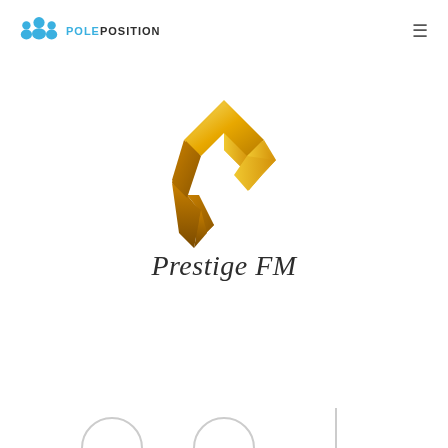[Figure (logo): PolePosition logo with blue people icon and blue text POLEPOSITION]
[Figure (logo): Prestige FM logo: gold diamond-shaped P symbol above cursive Prestige FM text]
[Figure (other): Bottom navigation icons (partial, cropped at page bottom)]